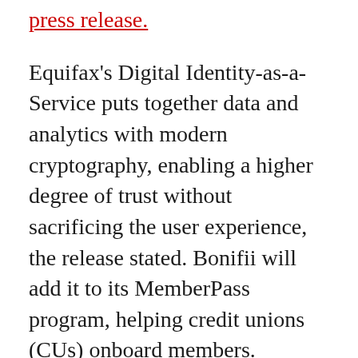press release.
Equifax's Digital Identity-as-a-Service puts together data and analytics with modern cryptography, enabling a higher degree of trust without sacrificing the user experience, the release stated. Bonifii will add it to its MemberPass program, helping credit unions (CUs) onboard members.
For consumers, the solution can facilitate more control over the information that's shared, adds more protection against identity fraud and account hacks, and strengthens user profiles with differentiated data, according to the release.
“There’s a common misconception that financial institutions must choose between mitigating fraud